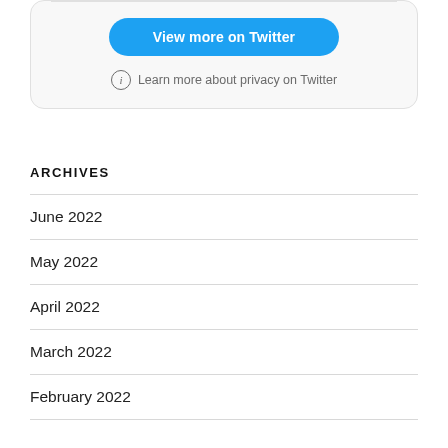[Figure (screenshot): Twitter embed card partial view with a blue 'View more on Twitter' button and a privacy notice below it]
ARCHIVES
June 2022
May 2022
April 2022
March 2022
February 2022